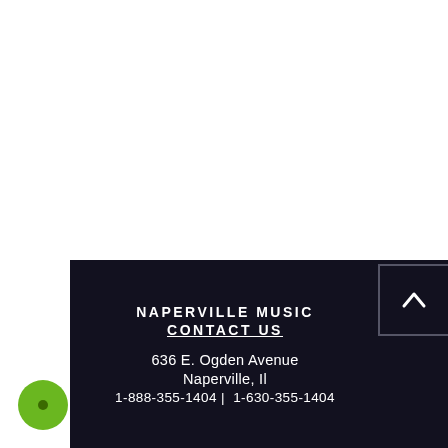NAPERVILLE MUSIC
CONTACT US

636 E. Ogden Avenue
Naperville, Il
1-888-355-1404 |  1-630-355-1404
[Figure (other): Green circular location pin / dot icon in the bottom left corner]